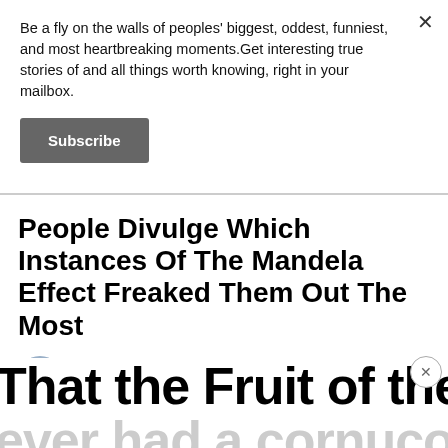Be a fly on the walls of peoples' biggest, oddest, funniest, and most heartbreaking moments.Get interesting true stories of and all things worth knowing, right in your mailbox.
Subscribe
People Divulge Which Instances Of The Mandela Effect Freaked Them Out The Most
By John Curtis
August 12 | 2022
That the Fruit of the Loom log
ever had a cornucopia. Wh